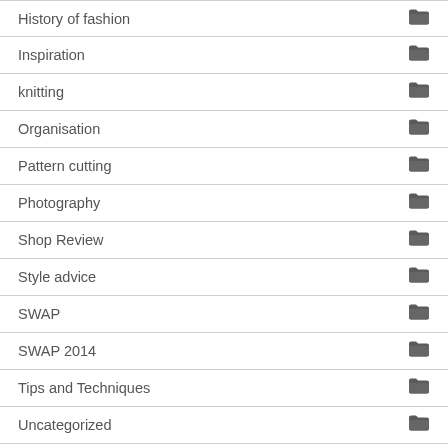History of fashion
Inspiration
knitting
Organisation
Pattern cutting
Photography
Shop Review
Style advice
SWAP
SWAP 2014
Tips and Techniques
Uncategorized
WIP (work in progress)